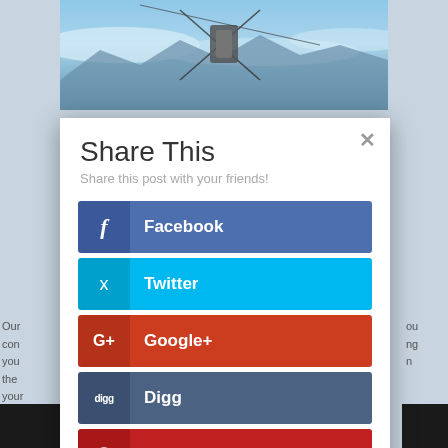[Figure (screenshot): Top portion of a webpage showing a cable car or gondola over mountains with blue sky]
Share This
Share this post with your friends!
Facebook
Twitter
Google+
Digg
Pinterest
reddit
Our cons you the n your
ou ng n